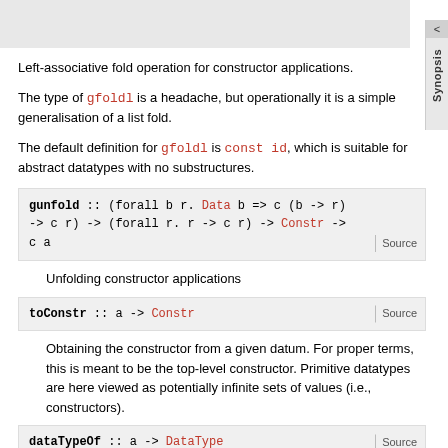[Figure (other): Gray header area at top of page (partial view of previous content area)]
Left-associative fold operation for constructor applications.
The type of gfoldl is a headache, but operationally it is a simple generalisation of a list fold.
The default definition for gfoldl is const id, which is suitable for abstract datatypes with no substructures.
gunfold :: (forall b r. Data b => c (b -> r) -> c r) -> (forall r. r -> c r) -> Constr -> c a   Source
Unfolding constructor applications
toConstr :: a -> Constr   Source
Obtaining the constructor from a given datum. For proper terms, this is meant to be the top-level constructor. Primitive datatypes are here viewed as potentially infinite sets of values (i.e., constructors).
dataTypeOf :: a -> DataType   Source